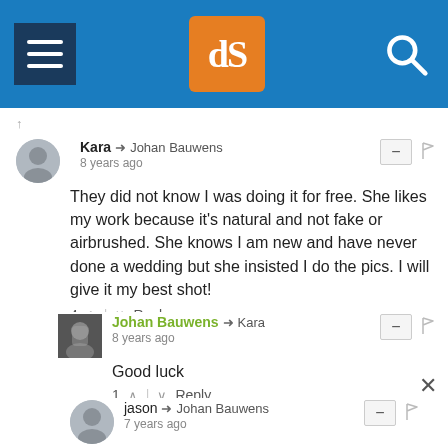[Figure (screenshot): Website navigation bar with hamburger menu icon, orange dPS logo, and search icon on blue background]
Kara → Johan Bauwens
8 years ago
They did not know I was doing it for free. She likes my work because it's natural and not fake or airbrushed. She knows I am new and have never done a wedding but she insisted I do the pics. I will give it my best shot!
4 ↑ | ↓ Reply
Johan Bauwens → Kara
8 years ago
Good luck
1 ↑ | ↓ Reply
jason → Johan Bauwens
7 years ago